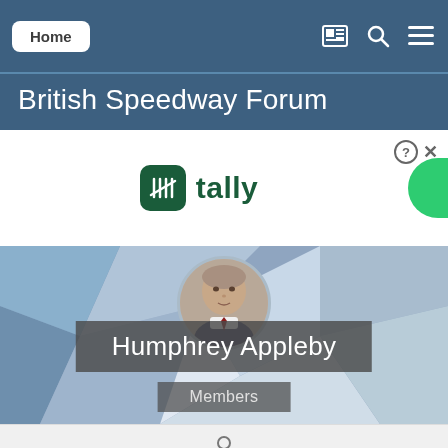Home
British Speedway Forum
[Figure (screenshot): Tally advertisement banner with tally logo and green circle element]
[Figure (photo): Profile banner with polygonal blue-grey background. Circular avatar photo of an older man in a suit. Name badge reading 'Humphrey Appleby' and role badge reading 'Members']
Humphrey Appleby
Members